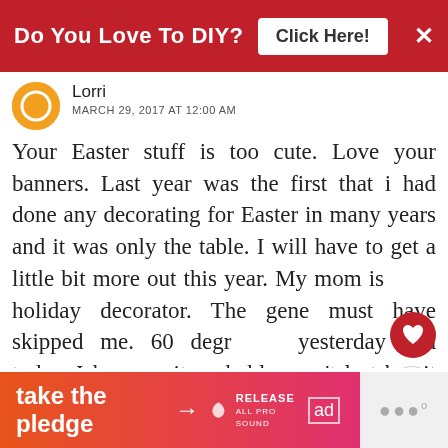[Figure (infographic): Red ad banner at top with text 'Do You Love To DIY?' and 'Click Here!' button and X close button]
Lorri
MARCH 29, 2017 AT 12:00 AM
Your Easter stuff is too cute. Love your banners. Last year was the first that i had done any decorating for Easter in many years and it was only the table. I will have to get a little bit more out this year. My mom is holiday decorator. The gene must have skipped me. 60 degr yesterday and today. I know it probably won't last but it w nice.
[Figure (infographic): Bottom ad banner with 'take the pledge' text and arrow, RELEASE logo, ad icon, and gray section with dots icon]